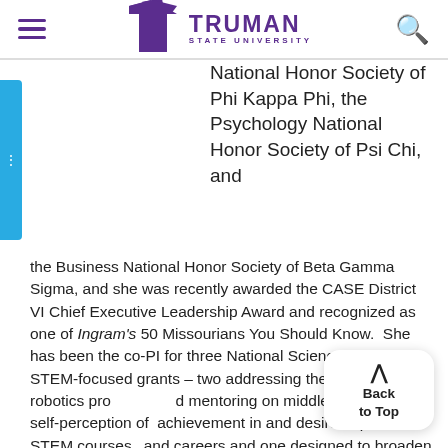[Figure (logo): Truman State University logo with T icon and wordmark in purple]
National Honor Society of Phi Kappa Phi, the Psychology National Honor Society of Psi Chi, and the Business National Honor Society of Beta Gamma Sigma, and she was recently awarded the CASE District VI Chief Executive Leadership Award and recognized as one of Ingram's 50 Missourians You Should Know.  She has been the co-PI for three National Science Foundation STEM-focused grants – two addressing the impact of robotics programs and mentoring on middle school girls' self-perception of achievement in and desire to pursue STEM courses and careers and one designed to broaden participation in STEM